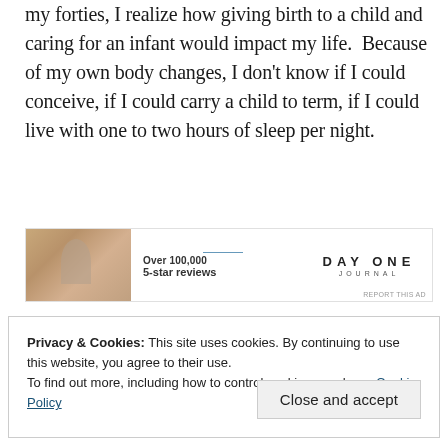my forties, I realize how giving birth to a child and caring for an infant would impact my life.  Because of my own body changes, I don't know if I could conceive, if I could carry a child to term, if I could live with one to two hours of sleep per night.
[Figure (other): Advertisement banner for Day One Journal app showing a person from behind, text 'Over 100,000 5-star reviews' and the Day One Journal logo.]
Privacy & Cookies: This site uses cookies. By continuing to use this website, you agree to their use.
To find out more, including how to control cookies, see here: Cookie Policy
Close and accept